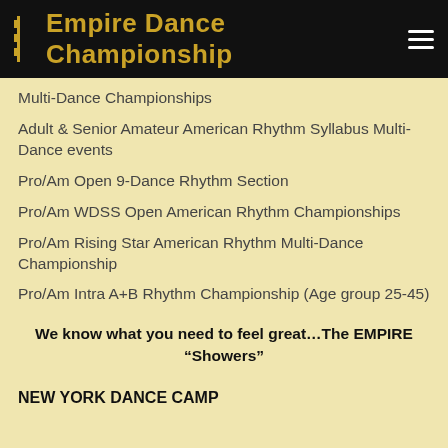Empire Dance Championship
Multi-Dance Championships
Adult & Senior Amateur American Rhythm Syllabus Multi-Dance events
Pro/Am Open 9-Dance Rhythm Section
Pro/Am WDSS Open American Rhythm Championships
Pro/Am Rising Star American Rhythm Multi-Dance Championship
Pro/Am Intra A+B Rhythm Championship (Age group 25-45)
We know what you need to feel great…The EMPIRE "Showers"
NEW YORK DANCE CAMP